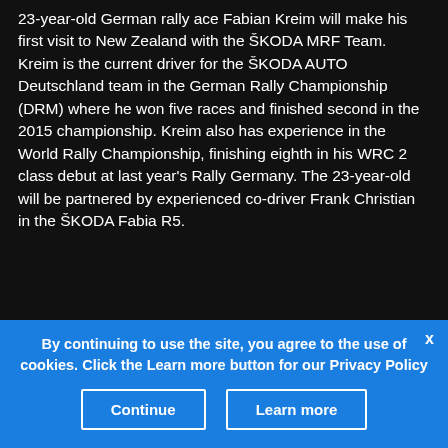23-year-old German rally ace Fabian Kreim will make his first visit to New Zealand with the ŠKODA MRF Team. Kreim is the current driver for the ŠKODA AUTO Deutschland team in the German Rally Championship (DRM) where he won five races and finished second in the 2015 championship. Kreim also has experience in the World Rally Championship, finishing eighth in his WRC 2 class debut at last year's Rally Germany. The 23-year-old will be partnered by experienced co-driver Frank Christian in the ŠKODA Fabia R5.
By continuing to use the site, you agree to the use of cookies. Click the Learn more button for our Privacy Policy
Continue
Learn more